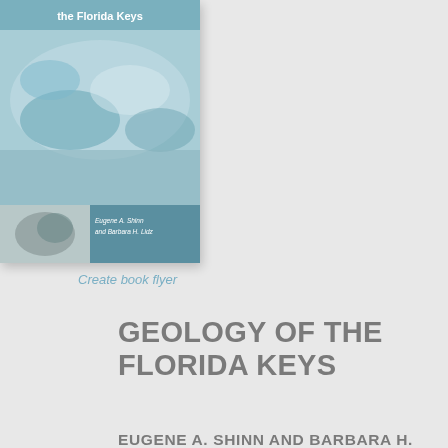[Figure (illustration): Book cover for 'Geology of the Florida Keys' by Eugene A. Shinn and Barbara H. Lidz, showing aerial/underwater coral reef imagery and author names on a teal/blue background with 'the Florida Keys' text at top.]
Create book flyer
GEOLOGY OF THE FLORIDA KEYS
EUGENE A. SHINN AND BARBARA H. LIDZ
Hardcover: $34.95